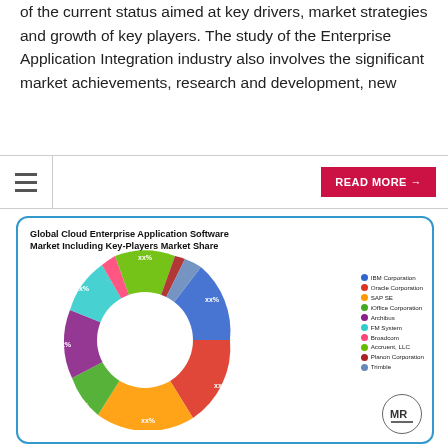of the current status aimed at key drivers, market strategies and growth of key players. The study of the Enterprise Application Integration industry also involves the significant market achievements, research and development, new
[Figure (donut-chart): Global Cloud Enterprise Application Software Market Including Key-Players Market Share]